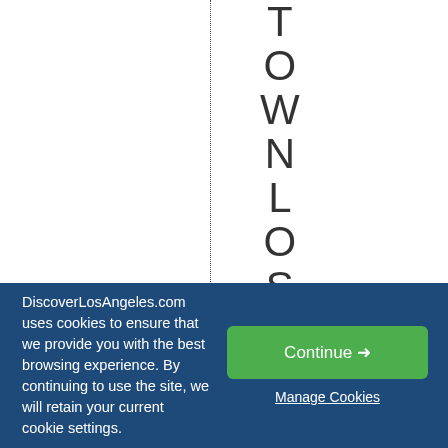TOWNLOSANGELES
0
DiscoverLosAngeles.com uses cookies to ensure that we provide you with the best browsing experience. By continuing to use the site, we will retain your current cookie settings.
Continue →
Manage Cookies